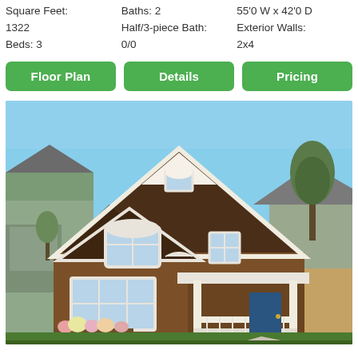Square Feet: 1322  Baths: 2  55'0 W x 42'0 D
Beds: 3  Half/3-piece Bath: 0/0  Exterior Walls: 2x4
Floor Plan | Details | Pricing
[Figure (photo): Exterior photo of a two-storey residential house with brown horizontal siding, white trim, dark brown roof, front porch with white columns, large front windows, green lawn, flower beds, blue sky, and neighboring houses visible on both sides.]